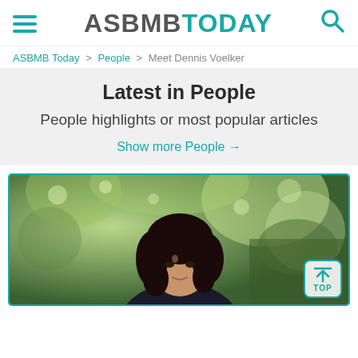ASBMB TODAY
ASBMB Today > People > Meet Dennis Voelker
Latest in People
People highlights or most popular articles
Show more People →
[Figure (photo): Portrait photo of a young woman with dark curly hair outdoors with green foliage background]